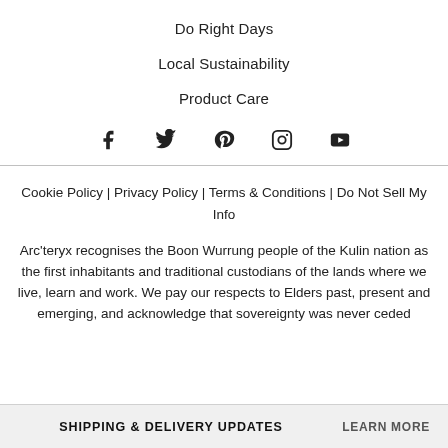Do Right Days
Local Sustainability
Product Care
[Figure (infographic): Social media icons: Facebook, Twitter, Pinterest, Instagram, YouTube]
Cookie Policy | Privacy Policy | Terms & Conditions | Do Not Sell My Info
Arc'teryx recognises the Boon Wurrung people of the Kulin nation as the first inhabitants and traditional custodians of the lands where we live, learn and work. We pay our respects to Elders past, present and emerging, and acknowledge that sovereignty was never ceded
SHIPPING & DELIVERY UPDATES   LEARN MORE